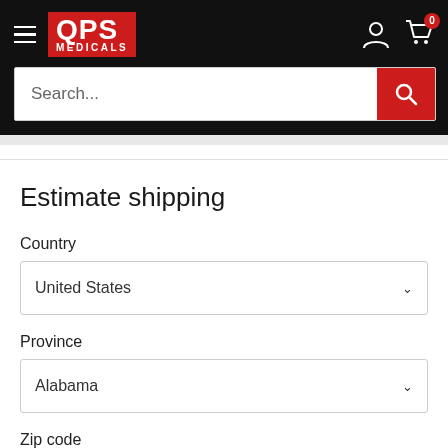QPS Medicals — navigation header with logo, hamburger menu, account icon, cart icon (0)
Search...
Estimate shipping
Country
United States
Province
Alabama
Zip code